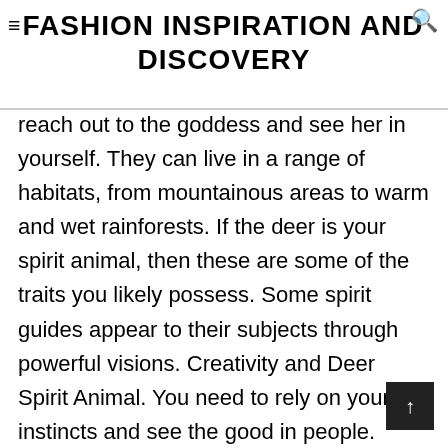FASHION INSPIRATION AND DISCOVERY
reach out to the goddess and see her in yourself. They can live in a range of habitats, from mountainous areas to warm and wet rainforests. If the deer is your spirit animal, then these are some of the traits you likely possess. Some spirit guides appear to their subjects through powerful visions. Creativity and Deer Spirit Animal. You need to rely on your instincts and see the good in people. Beauty– Jaguars fur is something many people have been longing for. So, here are few deer characteristics that are important.Resilient –